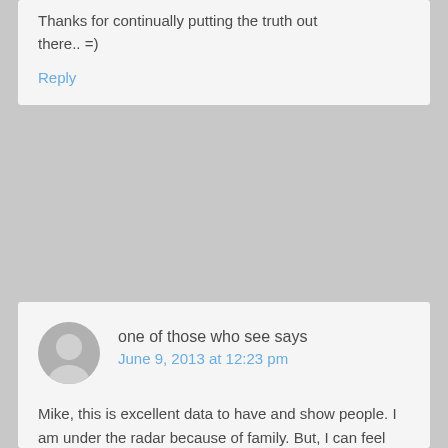Thanks for continually putting the truth out there.. =)
Reply
one of those who see says
June 9, 2013 at 12:23 pm
Mike, this is excellent data to have and show people. I am under the radar because of family. But, I can feel that loosening up. So hopefully I will have more freedom soon. I do what I can in the position I am in. I am not declared, but would be of course. My info: 31 years in Scientology, short time on Staff , but more than 10 years – part of that was full time FSM and part of that was a huge project as a public. Clear